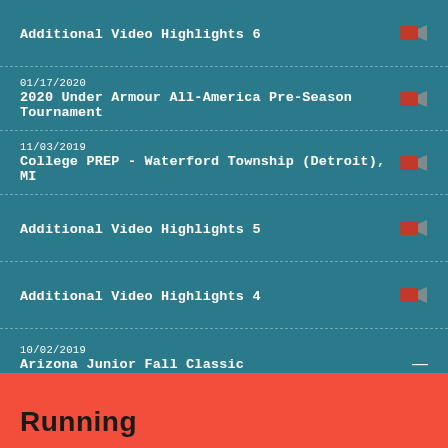Additional Video Highlights 6
01/17/2020
2020 Under Armour All-America Pre-Season Tournament
11/03/2019
College PREP - Waterford Township (Detroit), MI
Additional Video Highlights 5
Additional Video Highlights 4
10/02/2019
Arizona Junior Fall Classic
Additional Video Highlights 3
Running